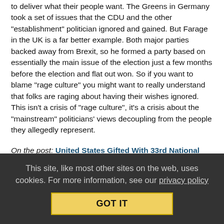to deliver what their people want. The Greens in Germany took a set of issues that the CDU and the other "establishment" politician ignored and gained. But Farage in the UK is a far better example. Both major parties backed away from Brexit, so he formed a party based on essentially the main issue of the election just a few months before the election and flat out won. So if you want to blame "rage culture" you might want to really understand that folks are raging about having their wishes ignored. This isn't a crisis of "rage culture", it's a crisis about the "mainstream" politicians' views decoupling from the people they allegedly represent.
On the post: United States Gifted With 33rd National Emergency By President Who Says It's Not Really An Emergency
nerd bert ( profile ), 19 Feb, 2019 @ 07:22am
Re: Critical Thinking
This site, like most other sites on the web, uses cookies. For more information, see our privacy policy
GOT IT